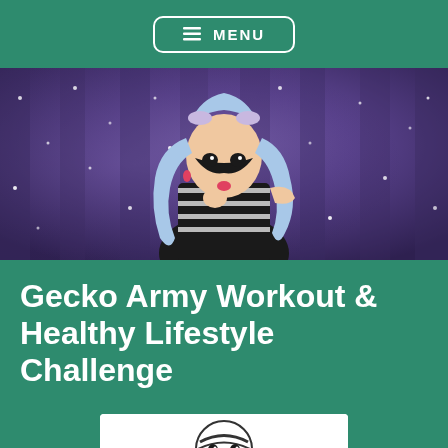≡ MENU
[Figure (photo): A person in cosplay costume with blue wavy hair, black and white striped outfit, hair accessories with bows, posing against a purple sparkly background with fairy lights]
Gecko Army Workout & Healthy Lifestyle Challenge
[Figure (illustration): Black and white comic book style illustration of a muscular character with green coloring at the bottom of the page]